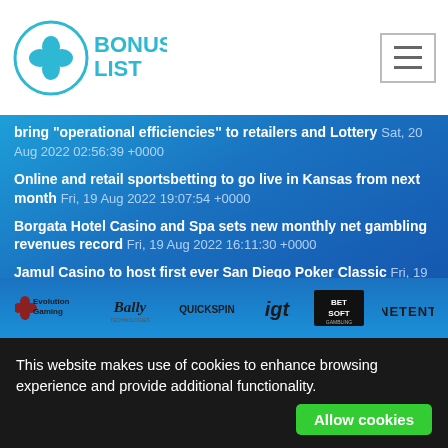[Figure (logo): Bonus List logo — four-leaf clover in circle with BONUS LIST text in blue]
[Figure (other): Hamburger menu button (three horizontal lines) in a bordered box]
bring “operational efficiencies” to retailers and Lottery Sat, 20 Aug 2022 02:56:39 +0000
Online and retail sportsbetting to go live in Kansas from next month Fri, 19 Aug 2022 19:07:54 +0000
Borgata Hotel Casino and Spa sets new monthly net gambling revenues record Fri, 19 Aug 2022 16:11:30 +0000
Jamul Casino to host first ever San Diego Poker Classic Fri, 19 Aug 2022 13:58:46 +0000
[Figure (logo): Partner logos row: Evolution Gaming, Bally, Quickspin, IGT, Bet Soft, NetEnt]
This website makes use of cookies to enhance browsing experience and provide additional functionality.